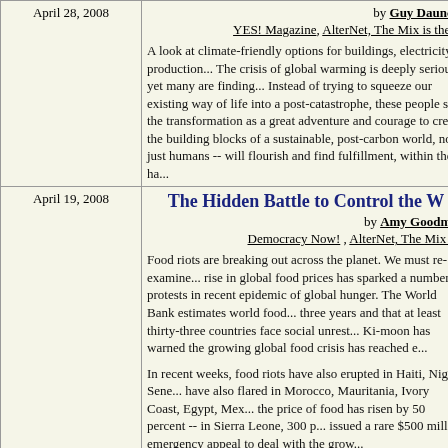| Date | Content |
| --- | --- |
| April 28, 2008 | by Guy Dauncey
YES! Magazine, AlterNet, The Mix is the M...
A look at climate-friendly options for buildings, electricity produ... The crisis of global warming is deeply serious, yet many are findi... Instead of trying to squeeze our existing way of life into a post-ca... catastrophe, these people see the transformation as a great advent... and courage to create the building blocks of a sustainable, post-ca... not just humans -- will flourish and find fulfillment, within the ha... |
| April 19, 2008 | The Hidden Battle to Control the W...
by Amy Goodman
Democracy Now! , AlterNet, The Mix is t...
Food riots are breaking out across the planet. We must re-examine... rise in global food prices has sparked a number of protests in rece... epidemic of global hunger. The World Bank estimates world food... three years and that at least thirty-three countries face social unres... Ki-moon has warned the growing global food crisis has reached e...

In recent weeks, food riots have also erupted in Haiti, Niger, Sene... have also flared in Morocco, Mauritania, Ivory Coast, Egypt, Me... the price of food has risen by 50 percent -- in Sierra Leone, 300 p... issued a rare $500 million emergency appeal to deal with the grow...

Several causes factor into the global food price hike, many linked... driven climate change, the soaring cost of oil and a Western-led fo... into fuel. |
|  | Should the ban on commodity fu...
by Dr. Krishan Bir Chau... |